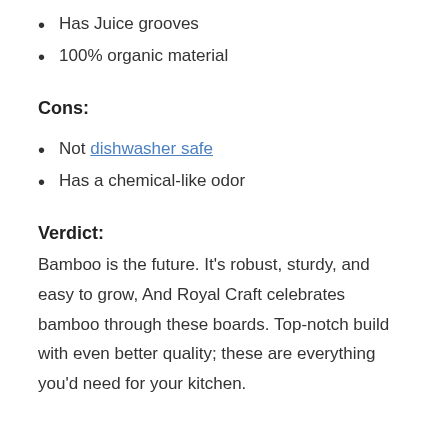Has Juice grooves
100% organic material
Cons:
Not dishwasher safe
Has a chemical-like odor
Verdict:
Bamboo is the future. It’s robust, sturdy, and easy to grow, And Royal Craft celebrates bamboo through these boards. Top-notch build with even better quality; these are everything you’d need for your kitchen.